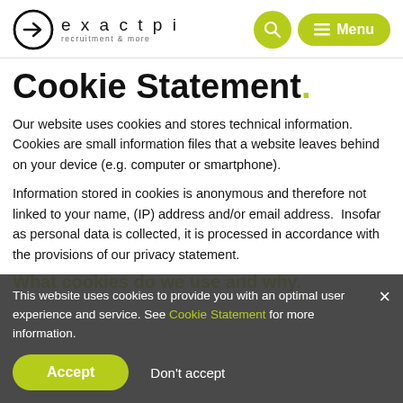exactpi recruitment & more
Cookie Statement.
Our website uses cookies and stores technical information. Cookies are small information files that a website leaves behind on your device (e.g. computer or smartphone).
Information stored in cookies is anonymous and therefore not linked to your name, (IP) address and/or email address.  Insofar as personal data is collected, it is processed in accordance with the provisions of our privacy statement.
What cookies do we use and why.
This website uses cookies to provide you with an optimal user experience and service. See Cookie Statement for more information.